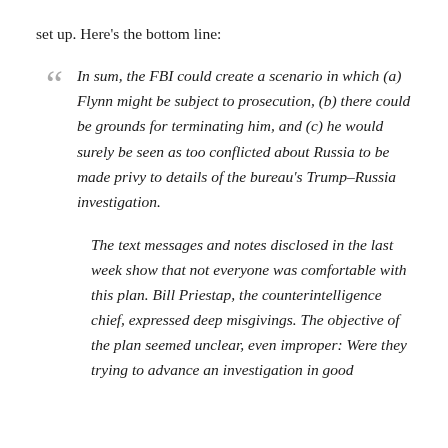set up. Here’s the bottom line:
In sum, the FBI could create a scenario in which (a) Flynn might be subject to prosecution, (b) there could be grounds for terminating him, and (c) he would surely be seen as too conflicted about Russia to be made privy to details of the bureau’s Trump–Russia investigation.
The text messages and notes disclosed in the last week show that not everyone was comfortable with this plan. Bill Priestap, the counterintelligence chief, expressed deep misgivings. The objective of the plan seemed unclear, even improper: Were they trying to advance an investigation in good